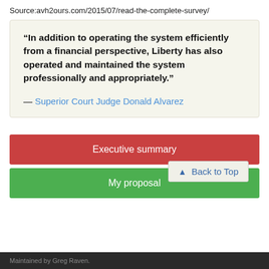Source:avh2ours.com/2015/07/read-the-complete-survey/
“In addition to operating the system efficiently from a financial perspective, Liberty has also operated and maintained the system professionally and appropriately.”

— Superior Court Judge Donald Alvarez
Executive summary
▲ Back to Top
My proposal
Maintained by Greg Raven.